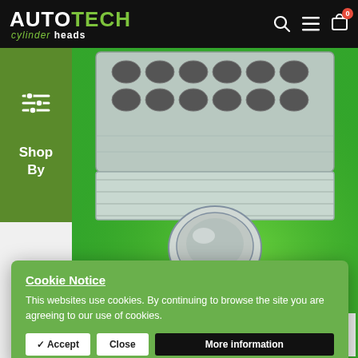AUTOTECH cylinder heads
[Figure (photo): A cylinder head component (silver/metallic) shown upside down against a bright green background, displaying valve ports and a round base fitting.]
Cookie Notice
This websites use cookies. By continuing to browse the site you are agreeing to our use of cookies.
Rebuilt cylinder heads come with either new hydraulic tappets or shimmed up